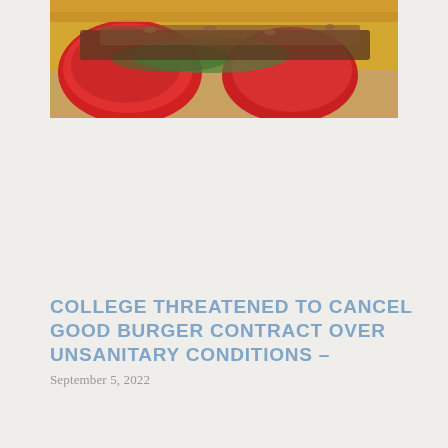[Figure (photo): Close-up photo of a burger or sandwich with red tomatoes and toppings visible, partially cropped at top of page]
COLLEGE THREATENED TO CANCEL GOOD BURGER CONTRACT OVER UNSANITARY CONDITIONS –
September 5, 2022